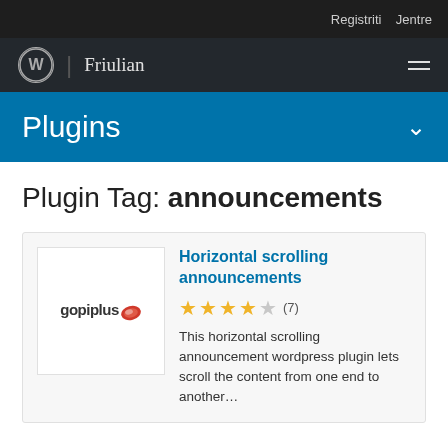Registriti   Jentre
Friulian
Plugins
Plugin Tag: announcements
[Figure (logo): gopiplus logo with red swoosh icon]
Horizontal scrolling announcements
★★★★☆ (7)
This horizontal scrolling announcement wordpress plugin lets scroll the content from one end to another…